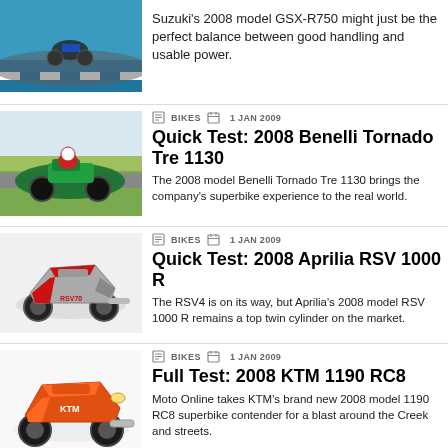Suzuki's 2008 model GSX-R750 might just be the perfect balance between good handling and usable power.
[Figure (photo): Motorcycle on track with blue and white curbing, aerial/angled view]
BIKES  1 JAN 2009
Quick Test: 2008 Benelli Tornado Tre 1130
The 2008 model Benelli Tornado Tre 1130 brings the company's superbike experience to the real world.
[Figure (photo): Green Benelli Tornado Tre 1130 sportsbike on a race track]
BIKES  1 JAN 2009
Quick Test: 2008 Aprilia RSV 1000 R
The RSV4 is on its way, but Aprilia's 2008 model RSV 1000 R remains a top twin cylinder on the market.
[Figure (photo): Silver/red Aprilia RSV 1000 R on white background]
BIKES  1 JAN 2009
Full Test: 2008 KTM 1190 RC8
Moto Online takes KTM's brand new 2008 model 1190 RC8 superbike contender for a blast around the Creek and streets.
[Figure (photo): Orange KTM 1190 RC8 superbike on white background]